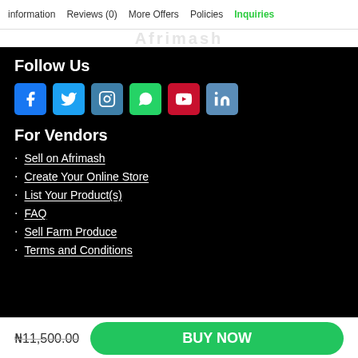information   Reviews (0)   More Offers   Policies   Inquiries
Follow Us
[Figure (other): Social media icons row: Facebook, Twitter, Instagram, WhatsApp, YouTube, LinkedIn]
For Vendors
Sell on Afrimash
Create Your Online Store
List Your Product(s)
FAQ
Sell Farm Produce
Terms and Conditions
₦11,500.00   BUY NOW